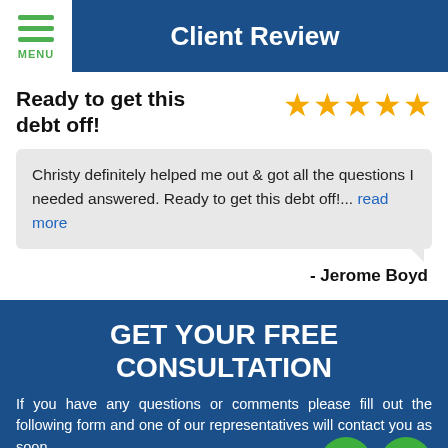Client Review
Ready to get this debt off!
Christy definitely helped me out & got all the questions I needed answered. Ready to get this debt off!... read more
- Jerome Boyd
GET YOUR FREE CONSULTATION
If you have any questions or comments please fill out the following form and one of our representatives will contact you as soon as possible.